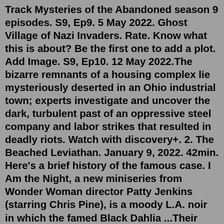Track Mysteries of the Abandoned season 9 episodes. S9, Ep9. 5 May 2022. Ghost Village of Nazi Invaders. Rate. Know what this is about? Be the first one to add a plot. Add Image. S9, Ep10. 12 May 2022.The bizarre remnants of a housing complex lie mysteriously deserted in an Ohio industrial town; experts investigate and uncover the dark, turbulent past of an oppressive steel company and labor strikes that resulted in deadly riots. Watch with discovery+. 2. The Beached Leviathan. January 9, 2022. 42min. Here's a brief history of the famous case. I Am the Night, a new miniseries from Wonder Woman director Patty Jenkins (starring Chris Pine), is a moody L.A. noir in which the famed Black Dahlia ...Their sightless eyes and lifeless limbs swaying silently in the gentle Aztecan breezes until the veil of night falls upon the land and, as the local residents claim, the dolls become animated by the spirits of the dead and beckon the unwary to a watery grave. Half a century ago, in the late 1950s, Don Julian Santana B... ...a long... on his... Jan 29, 2022... I...